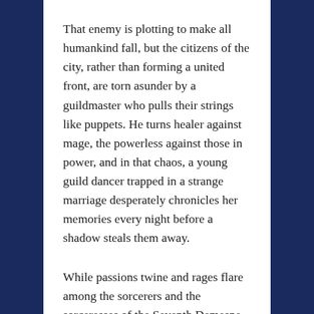That enemy is plotting to make all humankind fall, but the citizens of the city, rather than forming a united front, are torn asunder by a guildmaster who pulls their strings like puppets. He turns healer against mage, the powerless against those in power, and in that chaos, a young guild dancer trapped in a strange marriage desperately chronicles her memories every night before a shadow steals them away.
While passions twine and rages flare among the sorcerers and the sorceresses of the Seventh Demesne, their last hope – the shunned sorceress holding up the walls – becomes enmeshed in the scheme of a treacherous mage,